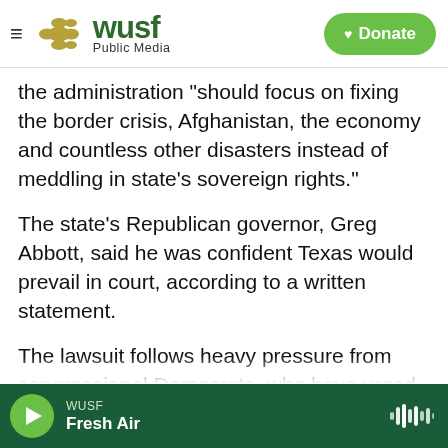WUSF Public Media — Donate
the administration "should focus on fixing the border crisis, Afghanistan, the economy and countless other disasters instead of meddling in state's sovereign rights."
The state's Republican governor, Greg Abbott, said he was confident Texas would prevail in court, according to a written statement.
The lawsuit follows heavy pressure from congressional Democrats, who have urged Garland to use the "full force" of the Justice Department.
"We urge you to take legal action up to and
WUSF — Fresh Air